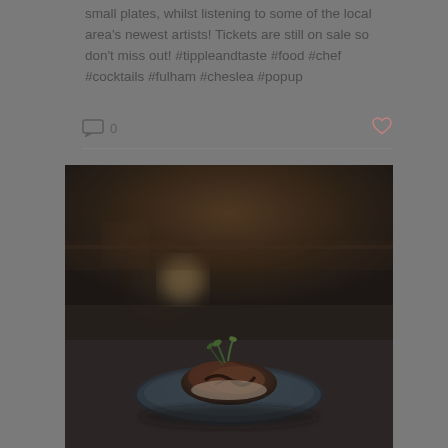small plates, whilst listening to some of the local area's newest artists! Tickets are still on sale so don't miss out! #tippleandtaste #food #chef #cocktails #fulham #cheslea #popup
[Figure (photo): A food photo showing a plated dish on a dark blue plate. The dish appears to be a meat or protein dish garnished with green herbs/microgreens and dark sauce. Background is dark and blurred with warm bokeh light spots, creating a moody restaurant atmosphere.]